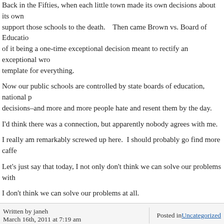Back in the Fifties, when each little town made its own decisions about its own schools, people felt a sense of ownership. They would support those schools to the death. Then came Brown vs. Board of Education, and instead of it being a one-time exceptional decision meant to rectify an exceptional wrong, it became a template for everything.
Now our public schools are controlled by state boards of education, national politicians make the decisions–and more and more people hate and resent them by the day.
I'd think there was a connection, but apparently nobody agrees with me.
I really am remarkably screwed up here. I should probably go find more caffeine.
Let's just say that today, I not only don't think we can solve our problems with more government,
I don't think we can solve our problems at all.
Written by janeh
March 16th, 2011 at 7:19 am
Posted in Uncategorized
« The Truman Capote Syndrome
7 Responses to 'Wednesday'
Subscribe to comments with RSS or TrackBack to 'Wednesday'.